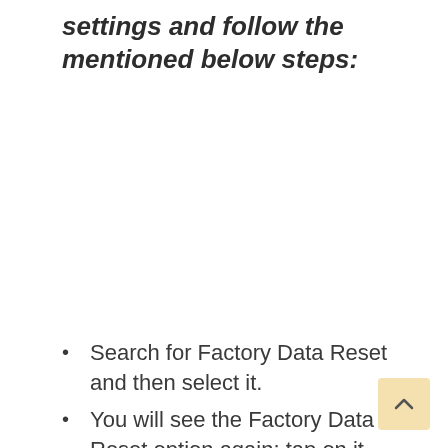settings and follow the mentioned below steps:
Search for Factory Data Reset and then select it.
You will see the Factory Data Reset option again; tap on it.